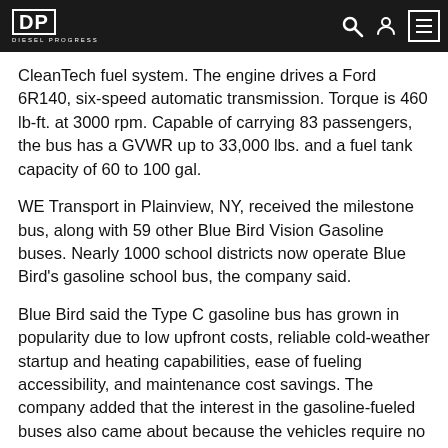Diesel Progress
CleanTech fuel system. The engine drives a Ford 6R140, six-speed automatic transmission. Torque is 460 lb-ft. at 3000 rpm. Capable of carrying 83 passengers, the bus has a GVWR up to 33,000 lbs. and a fuel tank capacity of 60 to 100 gal.
WE Transport in Plainview, NY, received the milestone bus, along with 59 other Blue Bird Vision Gasoline buses. Nearly 1000 school districts now operate Blue Bird's gasoline school bus, the company said.
Blue Bird said the Type C gasoline bus has grown in popularity due to low upfront costs, reliable cold-weather startup and heating capabilities, ease of fueling accessibility, and maintenance cost savings. The company added that the interest in the gasoline-fueled buses also came about because the vehicles require no